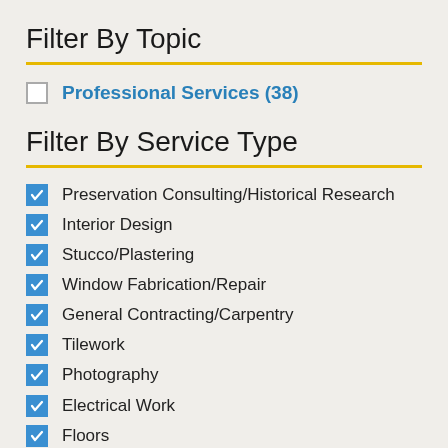Filter By Topic
Professional Services (38)
Filter By Service Type
Preservation Consulting/Historical Research
Interior Design
Stucco/Plastering
Window Fabrication/Repair
General Contracting/Carpentry
Tilework
Photography
Electrical Work
Floors
Roofing
Plumbing